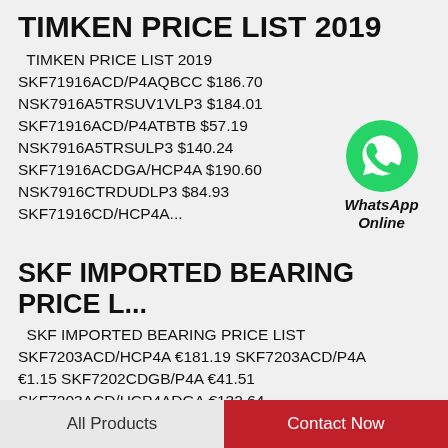TIMKEN PRICE LIST 2019
TIMKEN PRICE LIST 2019 SKF71916ACD/P4AQBCC $186.70 NSK7916A5TRSUV1VLP3 $184.01 SKF71916ACD/P4ATBTB $57.19 NSK7916A5TRSULP3 $140.24 SKF71916ACDGA/HCP4A $190.60 NSK7916CTRDUDLP3 $84.93 SKF71916CD/HCP4A...
[Figure (illustration): WhatsApp green chat bubble icon with text WhatsApp Online below]
SKF IMPORTED BEARING PRICE L...
SKF IMPORTED BEARING PRICE LIST SKF7203ACD/HCP4A €181.19 SKF7203ACD/P4A €1.15 SKF7202CDGB/P4A €41.51 SKF7203ACD/HCP4ADGA €132.64
All Products    Contact Now